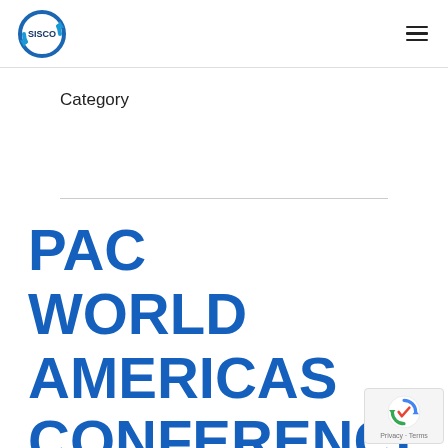[Figure (logo): SISCO circular logo with blue ring and arrow, dark blue SISCO text]
Category
PAC WORLD AMERICAS CONFERENCE
[Figure (other): reCAPTCHA badge with Privacy - Terms text]